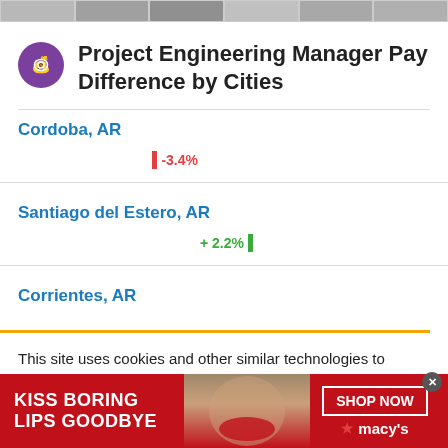[Figure (other): Top navigation strip with thumbnail images]
Project Engineering Manager Pay Difference by Cities
Cordoba, AR
[Figure (bar-chart): Pay difference]
Santiago del Estero, AR
[Figure (bar-chart): Pay difference]
Corrientes, AR
This site uses cookies and other similar technologies to provide site functionality, analyze traffic and usage, and
[Figure (other): Advertisement banner: KISS BORING LIPS GOODBYE – SHOP NOW – Macy's]